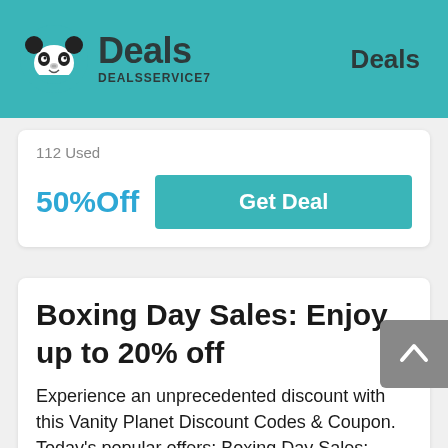Deals DEALSSERVICE7 | Deals
112 Used
50%Off
Get Deal
Boxing Day Sales: Enjoy up to 20% off
Experience an unprecedented discount with this Vanity Planet Discount Codes & Coupon. Today's popular offers: Boxing Day Sales: Enjoy up to 20% off. Limit time offer.